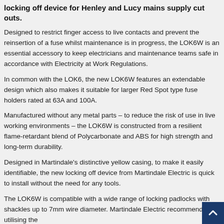locking off device for Henley and Lucy mains supply cut outs.
Designed to restrict finger access to live contacts and prevent the reinsertion of a fuse whilst maintenance is in progress, the LOK6W is an essential accessory to keep electricians and maintenance teams safe in accordance with Electricity at Work Regulations.
In common with the LOK6, the new LOK6W features an extendable design which also makes it suitable for larger Red Spot type fuse holders rated at 63A and 100A.
Manufactured without any metal parts – to reduce the risk of use in live working environments – the LOK6W is constructed from a resilient flame-retardant blend of Polycarbonate and ABS for high strength and long-term durability.
Designed in Martindale's distinctive yellow casing, to make it easily identifiable, the new locking off device from Martindale Electric is quick to install without the need for any tools.
The LOK6W is compatible with a wide range of locking padlocks with shackles up to 7mm wire diameter. Martindale Electric recommends utilising the